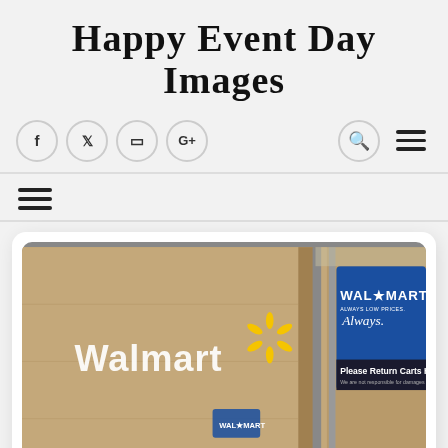Happy Event Day Images
[Figure (screenshot): Website navigation bar with social media icons (Facebook, Twitter, Instagram, Google+), search icon, and hamburger menu icon on a light gray background]
[Figure (photo): Photograph of a Walmart store exterior showing the Walmart logo on the building wall with a yellow spark logo, and a blue WAL*MART street sign reading 'ALWAYS LOW PRICES. Always.' and 'Please Return Carts H... We are not responsible for damages caused...']